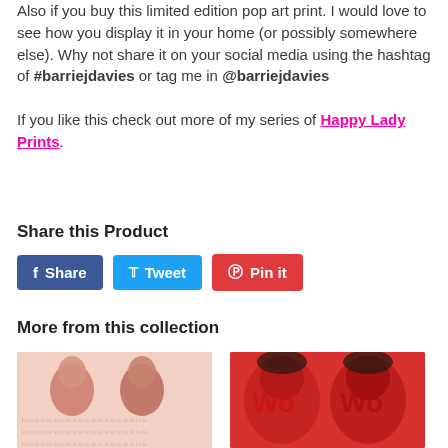Also if you buy this limited edition pop art print. I would love to see how you display it in your home (or possibly somewhere else). Why not share it on your social media using the hashtag of #barriejdavies or tag me in @barriejdavies
If you like this check out more of my series of Happy Lady Prints.
Share this Product
[Figure (other): Three social sharing buttons: Share (Facebook, blue), Tweet (Twitter, cyan), Pin it (Pinterest, red)]
More from this collection
[Figure (photo): Pop art print showing two young men repeated in pink/red tones on a cream background]
[Figure (photo): Pop art print showing two women with 'Woo' text overlay in red tones]